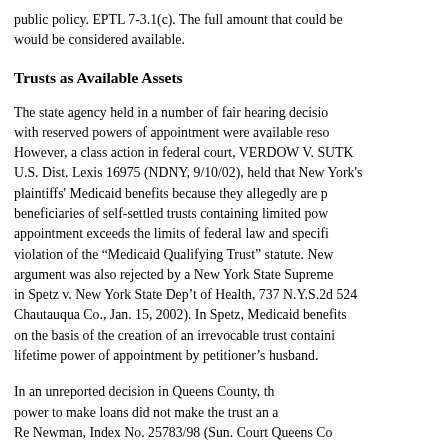public policy. EPTL 7-3.1(c). The full amount that could be would be considered available.
Trusts as Available Assets
The state agency held in a number of fair hearing decisions with reserved powers of appointment were available resources. However, a class action in federal court, VERDOW V. SUTR U.S. Dist. Lexis 16975 (NDNY, 9/10/02), held that New York's plaintiffs' Medicaid benefits because they allegedly are p beneficiaries of self-settled trusts containing limited powers appointment exceeds the limits of federal law and specifi violation of the "Medicaid Qualifying Trust" statute. New argument was also rejected by a New York State Supreme in Spetz v. New York State Dep't of Health, 737 N.Y.S.2d 524 Chautauqua Co., Jan. 15, 2002). In Spetz, Medicaid benefits on the basis of the creation of an irrevocable trust containing lifetime power of appointment by petitioner's husband.
In an unreported decision in Queens County, the power to make loans did not make the trust an a Re Newman, Index No. 25783/98 (Sun. Court Queens County)